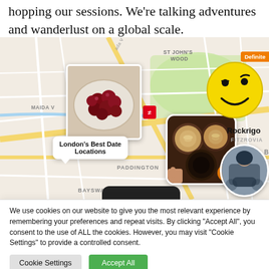hopping our sessions. We're talking adventures and wanderlust on a global scale.
[Figure (screenshot): Map of London showing Regent's Park area with photo pins: a bowl of dark red cherries labeled 'London's Best Date Locations', coffee cups photo with badge '5', a smiley face emoji with 'Definitely' orange badge and 'Rockrigo' label in Fitzrovia area, a motorcyclist circular photo, and a railway station icon.]
We use cookies on our website to give you the most relevant experience by remembering your preferences and repeat visits. By clicking "Accept All", you consent to the use of ALL the cookies. However, you may visit "Cookie Settings" to provide a controlled consent.
Cookie Settings    Accept All